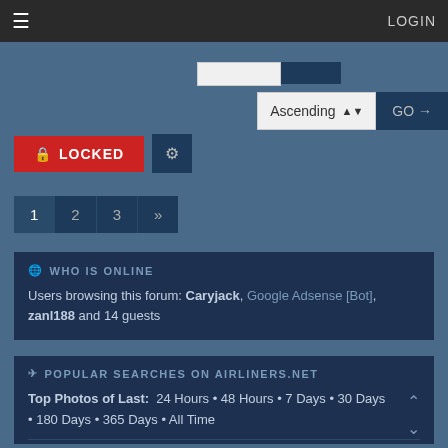≡  LOGIN
Ascending ⬍  GO →
🔒 LOCKED  ⚙
1  2  3  »
🌐 WHO IS ONLINE
Users browsing this forum: Caryjack, Google Adsense [Bot], zanl188 and 14 guests
✈ POPULAR SEARCHES ON AIRLINERS.NET
Top Photos of Last: 24 Hours • 48 Hours • 7 Days • 30 Days • 180 Days • 365 Days • All Time
Military Aircraft